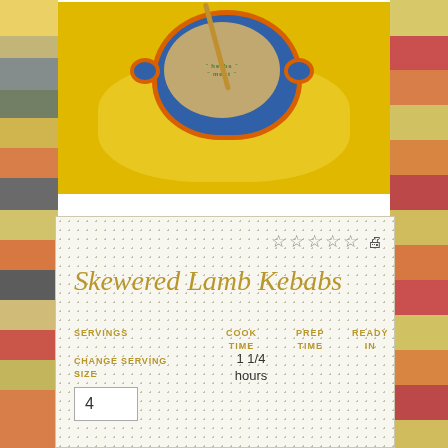[Figure (photo): Overhead view of skewered lamb kebabs in a blue ceramic bowl with orange rim, garnished with green herbs, on a yellow cloth background]
Skewered Lamb Kebabs
SERVINGS   COOK TIME   PREP TIME   READY IN
CHANGE SERVING SIZE
1 1/4 hours
4